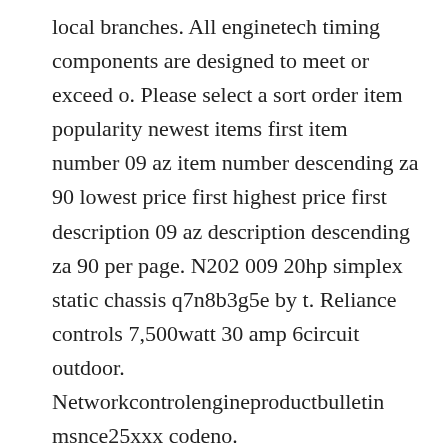local branches. All enginetech timing components are designed to meet or exceed o. Please select a sort order item popularity newest items first item number 09 az item number descending za 90 lowest price first highest price first description 09 az description descending za 90 per page. N202 009 20hp simplex static chassis q7n8b3g5e by t. Reliance controls 7,500watt 30 amp 6circuit outdoor. Networkcontrolengineproductbulletin msnce25xxx codeno.